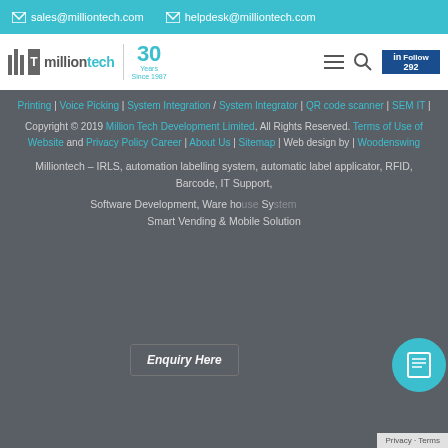✉ sales@milliontech.com   ✉ helpdesk@milliontech.com
[Figure (logo): MillionTech 30 Years logo with navigation icons and LinkedIn follow button]
Printing | Voice Picking | System Integration / System Integrator | QR code scanner | SEM IT |
Copyright © 2019 Million Tech Development Limited. All Rights Reserved. Terms of Use of Website and Privacy Policy Career | About Us | Sitemap | Web design by | Woodenswing
Milliontech – IRLS, automation labelling system, automatic label applicator, RFID, Barcode, IT Support,
Software Development, Ware ho… Sy… Smart Vending & Mobile Solution